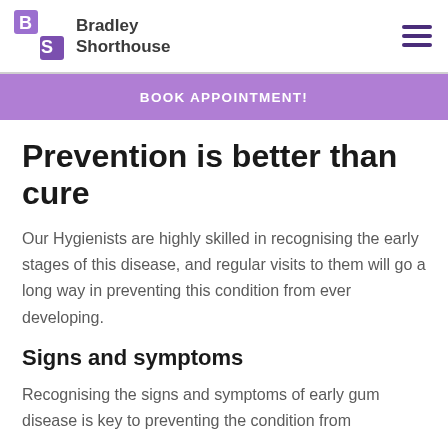Bradley Shorthouse
BOOK APPOINTMENT!
Prevention is better than cure
Our Hygienists are highly skilled in recognising the early stages of this disease, and regular visits to them will go a long way in preventing this condition from ever developing.
Signs and symptoms
Recognising the signs and symptoms of early gum disease is key to preventing the condition from